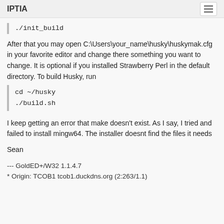IPTIA
./init_build
After that you may open C:\Users\your_name\husky\huskymak.cfg in your favorite editor and change there something you want to change. It is optional if you installed Strawberry Perl in the default directory. To build Husky, run
cd ~/husky
./build.sh
I keep getting an error that make doesn't exist. As I say, I tried and failed to install mingw64. The installer doesnt find the files it needs
Sean
--- GoldED+/W32 1.1.4.7
* Origin: TCOB1 tcob1.duckdns.org (2:263/1.1)